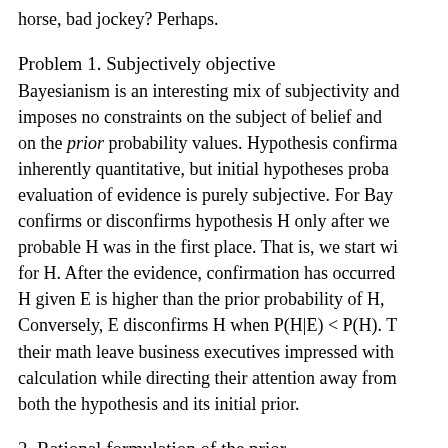horse, bad jockey? Perhaps.
Problem 1. Subjectively objective
Bayesianism is an interesting mix of subjectivity and objectivity. It imposes no constraints on the subject of belief and imposes constraints on the prior probability values. Hypothesis confirmation is inherently quantitative, but initial hypotheses probabilities and the evaluation of evidence is purely subjective. For Bayesians, evidence confirms or disconfirms hypothesis H only after we determine how probable H was in the first place. That is, we start with a prior probability for H. After the evidence, confirmation has occurred if the probability of H given E is higher than the prior probability of H, i.e., P(H|E) > P(H). Conversely, E disconfirms H when P(H|E) < P(H). The Bayesians and their math leave business executives impressed with the precision of the calculation while directing their attention away from the subjectivity of both the hypothesis and its initial prior.
2. Rational formulation of the prior
Problem 2 follows from the above. Paranoid, crackpots assign prior probabilities to hypotheses...